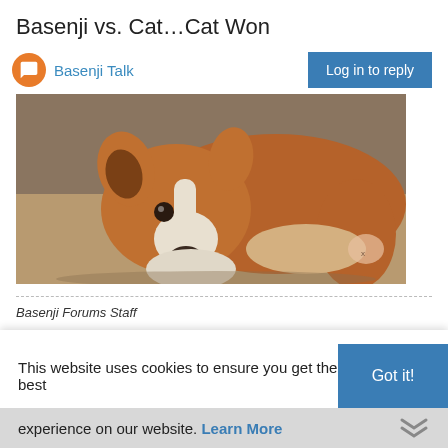Basenji vs. Cat…Cat Won
Basenji Talk
Log in to reply
[Figure (photo): A brown and white Basenji dog lying down, appearing to lick or inspect its paw, on a tan/beige surface.]
Basenji Forums Staff
0
This website uses cookies to ensure you get the best experience on our website. Learn More